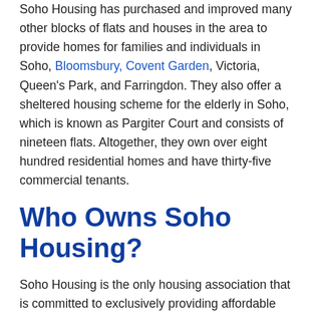Soho Housing has purchased and improved many other blocks of flats and houses in the area to provide homes for families and individuals in Soho, Bloomsbury, Covent Garden, Victoria, Queen's Park, and Farringdon. They also offer a sheltered housing scheme for the elderly in Soho, which is known as Pargiter Court and consists of nineteen flats. Altogether, they own over eight hundred residential homes and have thirty-five commercial tenants.
Who Owns Soho Housing?
Soho Housing is the only housing association that is committed to exclusively providing affordable housing within the Central London area. They believe that in order for the housing association to work at its best, it must have strong links to the community that it